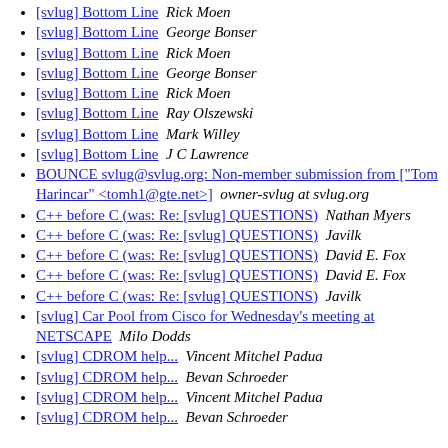[svlug] Bottom Line  Rick Moen
[svlug] Bottom Line  George Bonser
[svlug] Bottom Line  Rick Moen
[svlug] Bottom Line  George Bonser
[svlug] Bottom Line  Rick Moen
[svlug] Bottom Line  Ray Olszewski
[svlug] Bottom Line  Mark Willey
[svlug] Bottom Line  J C Lawrence
BOUNCE svlug@svlug.org: Non-member submission from ["Tom Harincar" <tomh1@gte.net>]  owner-svlug at svlug.org
C++ before C (was: Re: [svlug] QUESTIONS)  Nathan Myers
C++ before C (was: Re: [svlug] QUESTIONS)  Javilk
C++ before C (was: Re: [svlug] QUESTIONS)  David E. Fox
C++ before C (was: Re: [svlug] QUESTIONS)  David E. Fox
C++ before C (was: Re: [svlug] QUESTIONS)  Javilk
[svlug] Car Pool from Cisco for Wednesday's meeting at NETSCAPE  Milo Dodds
[svlug] CDROM help...  Vincent Mitchel Padua
[svlug] CDROM help...  Bevan Schroeder
[svlug] CDROM help...  Vincent Mitchel Padua
[svlug] CDROM help...  Bevan Schroeder